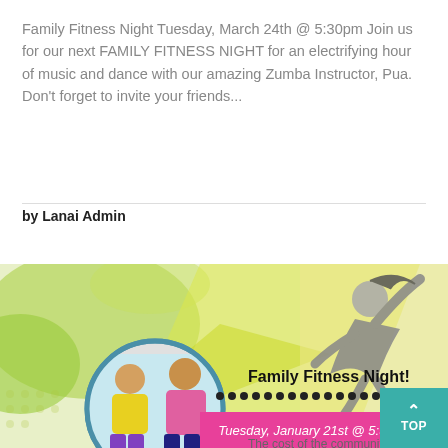Family Fitness Night Tuesday, March 24th @ 5:30pm Join us for our next FAMILY FITNESS NIGHT for an electrifying hour of music and dance with our amazing Zumba Instructor, Pua. Don't forget to invite your friends...
by Lanai Admin
[Figure (illustration): Family Fitness Night promotional flyer image with colorful background (green, yellow), silhouette of dancing figure, circular photo inset of two women exercising/dancing, text 'Family Fitness Night!' and 'Tuesday, January 21st @ 5:30pm', dotted row, pink banner at bottom, and teal 'TOP' button.]